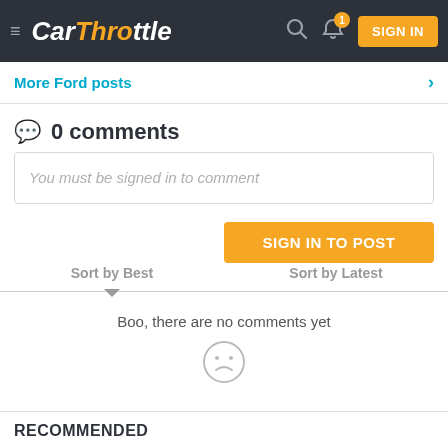CarThrottle — navigation bar with logo, search, notification bell (1), and SIGN IN button
More Ford posts
0 comments
You must be signed in to comment
SIGN IN TO POST
Sort by Best    Sort by Latest
Boo, there are no comments yet
RECOMMENDED